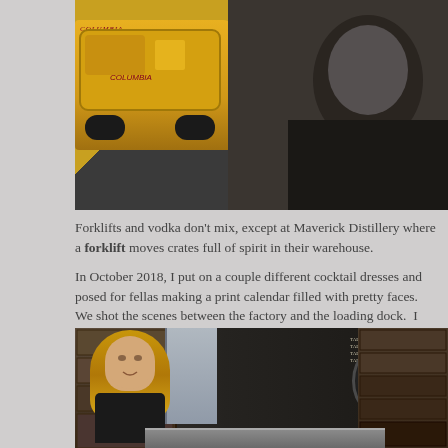[Figure (photo): Photo of a yellow forklift in a warehouse with a person in dark clothing]
Forklifts and vodka don't mix, except at Maverick Distillery where a forklift moves crates full of spirit in their warehouse.
In October 2018, I put on a couple different cocktail dresses and posed for fellas making a print calendar filled with pretty faces.  We shot the scenes between the factory and the loading dock.  I had choice and could wear my own smock. Now I look at these pictures and wonder, what mom...
[Figure (photo): Photo of a blonde woman in a black dress standing in a warehouse with Maverick Distillery branded barrels and stacked TALy boxes in the background]